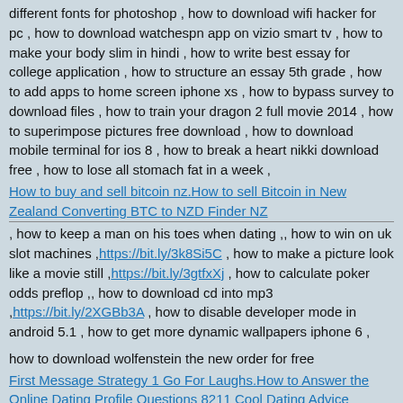different fonts for photoshop , how to download wifi hacker for pc , how to download watchespn app on vizio smart tv , how to make your body slim in hindi , how to write best essay for college application , how to structure an essay 5th grade , how to add apps to home screen iphone xs , how to bypass survey to download files , how to train your dragon 2 full movie 2014 , how to superimpose pictures free download , how to download mobile terminal for ios 8 , how to break a heart nikki download free , how to lose all stomach fat in a week ,
How to buy and sell bitcoin nz.How to sell Bitcoin in New Zealand Converting BTC to NZD Finder NZ
, how to keep a man on his toes when dating ,, how to win on uk slot machines ,https://bit.ly/3k8Si5C , how to make a picture look like a movie still ,https://bit.ly/3gtfxXj , how to calculate poker odds preflop ,, how to download cd into mp3 ,https://bit.ly/2XGBb3A , how to disable developer mode in android 5.1 , how to get more dynamic wallpapers iphone 6 ,
how to download wolfenstein the new order for free
First Message Strategy 1 Go For Laughs.How to Answer the Online Dating Profile Questions 8211 Cool Dating Advice
how to reduce your carbon footprint essay
How to find good deals on houses for sale.Investment Property up to 50 Off
how to train your dragon 1 full movie download in tamilrockers
https://bit.ly/2XQsgwJ
how to write a college research paper introduction